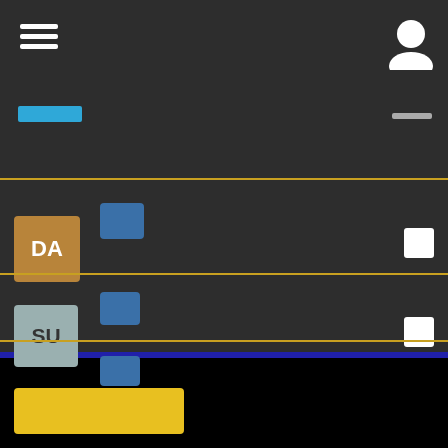[Figure (screenshot): Mobile app UI with dark background showing a navigation list. Top bar has hamburger menu icon (left) and user profile icon (right) with a blue selection indicator and grey line. Below are three list rows each separated by gold/yellow horizontal dividers. Each row has a colored avatar square with two-letter abbreviation (DA in brown, SU in grey-blue, OU in purple), a blue badge/icon, and a white checkbox square on the right. A partial fourth row is visible. The bottom portion transitions to a black section with a yellow button in the lower left.]